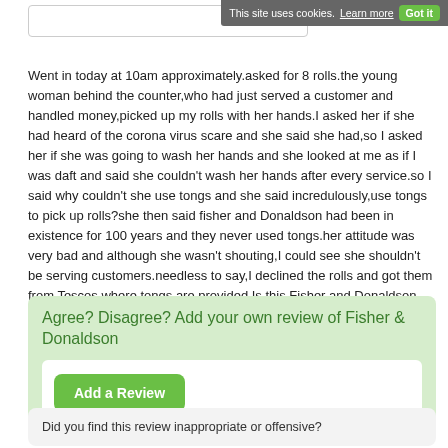[Figure (screenshot): Cookie consent banner with 'This site uses cookies. Learn more Got it' on dark grey background, top right corner]
Went in today at 10am approximately.asked for 8 rolls.the young woman behind the counter,who had just served a customer and handled money,picked up my rolls with her hands.I asked her if she had heard of the corona virus scare and she said she had,so I asked her if she was going to wash her hands and she looked at me as if I was daft and said she couldn't wash her hands after every service.so I said why couldn't she use tongs and she said incredulously,use tongs to pick up rolls?she then said fisher and Donaldson had been in existence for 100 years and they never used tongs.her attitude was very bad and although she wasn't shouting,I could see she shouldn't be serving customers.needless to say,I declined the rolls and got them from Tescos,where tongs are provided.Is this Fisher and Donaldson approach to basic hygiene in normal times,apart from the corona virus being around us?.
Agree? Disagree? Add your own review of Fisher & Donaldson
Add a Review
Did you find this review inappropriate or offensive?